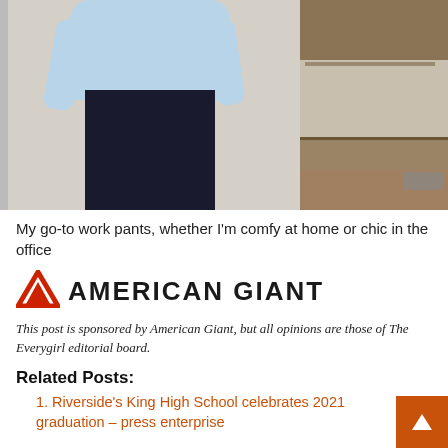[Figure (photo): A person wearing a light blue ribbed sweater and dark navy/black work pants, standing in front of a wall and kitchen area visible on the right side.]
My go-to work pants, whether I'm comfy at home or chic in the office
[Figure (logo): American Giant logo: red triangle/mountain icon on the left followed by bold uppercase text 'AMERICAN GIANT']
This post is sponsored by American Giant, but all opinions are those of The Everygirl editorial board.
Related Posts:
Riverside's King High School celebrates 2021 graduation – press enterprise